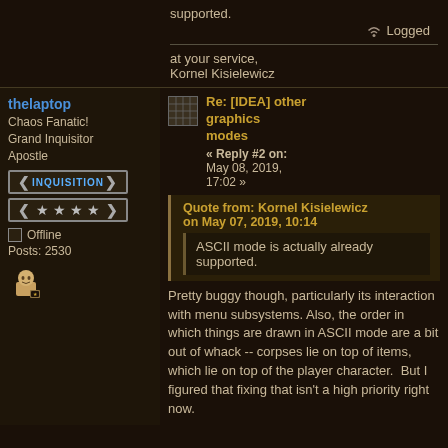supported.
Logged
at your service,
Kornel Kisielewicz
thelaptop
Chaos Fanatic!
Grand Inquisitor
Apostle
INQUISITION
Offline
Posts: 2530
Re: [IDEA] other graphics modes
« Reply #2 on: May 08, 2019, 17:02 »
Quote from: Kornel Kisielewicz on May 07, 2019, 10:14
ASCII mode is actually already supported.
Pretty buggy though, particularly its interaction with menu subsystems. Also, the order in which things are drawn in ASCII mode are a bit out of whack -- corpses lie on top of items, which lie on top of the player character.  But I figured that fixing that isn't a high priority right now.